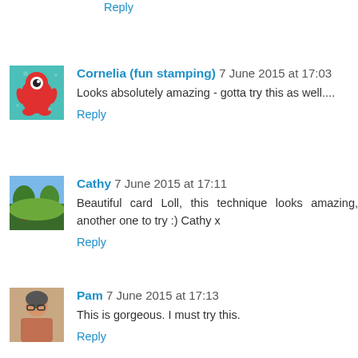Reply
Cornelia (fun stamping) 7 June 2015 at 17:03
Looks absolutely amazing - gotta try this as well....
Reply
Cathy 7 June 2015 at 17:11
Beautiful card Loll, this technique looks amazing, another one to try :) Cathy x
Reply
Pam 7 June 2015 at 17:13
This is gorgeous. I must try this.
Reply
[Figure (photo): Cornelia avatar: cartoon red monster on teal background]
[Figure (photo): Cathy avatar: outdoor nature/garden photo]
[Figure (photo): Pam avatar: photo of a woman with glasses]